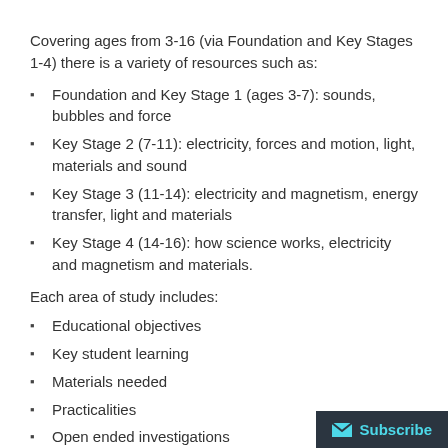Covering ages from 3-16 (via Foundation and Key Stages 1-4) there is a variety of resources such as:
Foundation and Key Stage 1 (ages 3-7): sounds, bubbles and force
Key Stage 2 (7-11): electricity, forces and motion, light, materials and sound
Key Stage 3 (11-14): electricity and magnetism, energy transfer, light and materials
Key Stage 4 (14-16): how science works, electricity and magnetism and materials.
Each area of study includes:
Educational objectives
Key student learning
Materials needed
Practicalities
Open ended investigations
Extension work